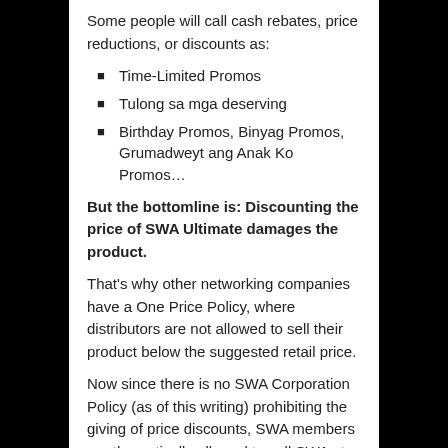Some people will call cash rebates, price reductions, or discounts as:
Time-Limited Promos
Tulong sa mga deserving
Birthday Promos, Binyag Promos, Grumadweyt ang Anak Ko Promos…
But the bottomline is: Discounting the price of SWA Ultimate damages the product.
That's why other networking companies have a One Price Policy, where distributors are not allowed to sell their product below the suggested retail price.
Now since there is no SWA Corporation Policy (as of this writing) prohibiting the giving of price discounts, SWA members are theoretically allowed to sell SWA at any price.
In theory, you can duplicate the discounted offers made by